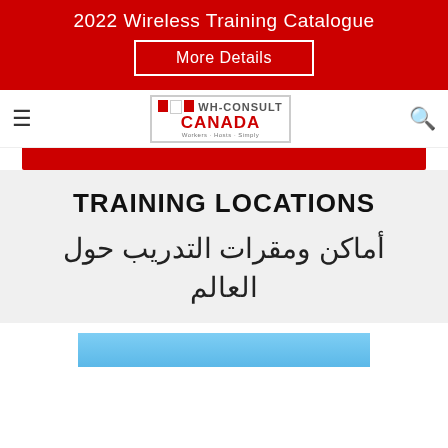2022 Wireless Training Catalogue
More Details
[Figure (logo): WH-Consult Canada logo with Canadian flag icons, red and white color scheme]
TRAINING LOCATIONS
أماكن ومقرات التدريب حول العالم
[Figure (photo): Partial image of a map or location graphic in blue tones visible at bottom]